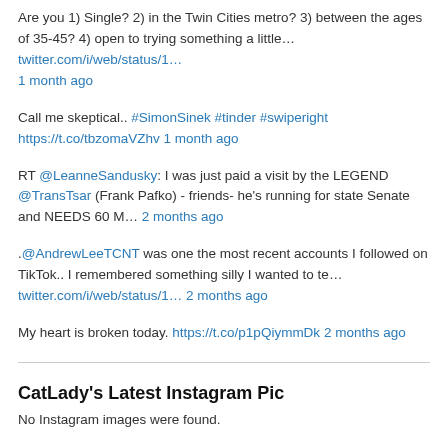Are you 1) Single? 2) in the Twin Cities metro? 3) between the ages of 35-45? 4) open to trying something a little… twitter.com/i/web/status/1… 1 month ago
Call me skeptical.. #SimonSinek #tinder #swiperight https://t.co/tbzomaVZhv 1 month ago
RT @LeanneSandusky: I was just paid a visit by the LEGEND @TransTsar (Frank Pafko) - friends- he's running for state Senate and NEEDS 60 M… 2 months ago
.@AndrewLeeTCNT was one the most recent accounts I followed on TikTok.. I remembered something silly I wanted to te… twitter.com/i/web/status/1… 2 months ago
My heart is broken today. https://t.co/p1pQiymmDk 2 months ago
CatLady's Latest Instagram Pic
No Instagram images were found.